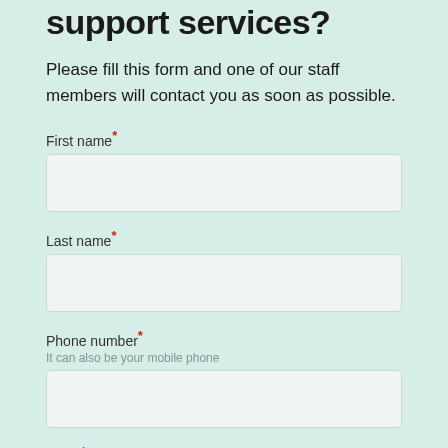support services?
Please fill this form and one of our staff members will contact you as soon as possible.
First name*
Last name*
Phone number*
It can also be your mobile phone
Email*